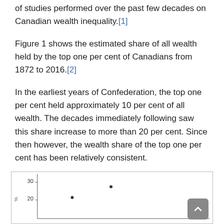of studies performed over the past few decades on Canadian wealth inequality.[1]
Figure 1 shows the estimated share of all wealth held by the top one per cent of Canadians from 1872 to 2016.[2]
In the earliest years of Confederation, the top one per cent held approximately 10 per cent of all wealth. The decades immediately following saw this share increase to more than 20 per cent. Since then however, the wealth share of the top one per cent has been relatively consistent.
Figure 1: The wealth share of the top one percent over time.
[Figure (continuous-plot): Partial view of a scatter/line chart showing the wealth share of the top one percent over time. Y-axis shows percentage values (visible labels around 20 and 30). Two data points are visible in the lower portion of the chart. A scroll-to-top button overlays the chart in the bottom-right corner.]